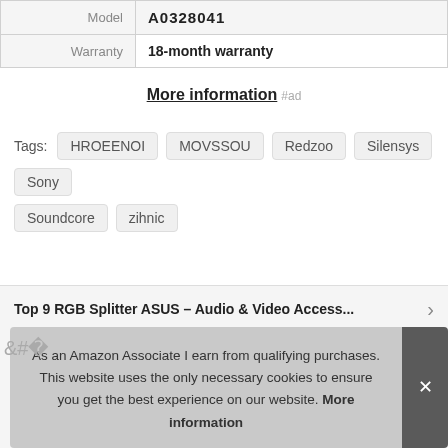|  |  |
| --- | --- |
| Model | A0328041 |
| Warranty | 18-month warranty |
More information #ad
Tags: HROEENOI MOVSSOU Redzoo Silensys Sony Soundcore zihnic
Top 9 RGB Splitter ASUS – Audio & Video Access...
As an Amazon Associate I earn from qualifying purchases. This website uses the only necessary cookies to ensure you get the best experience on our website. More information